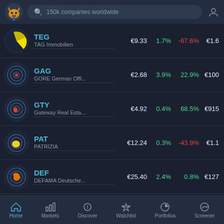[Figure (screenshot): App header with bull logo, search bar '150k companies worldwide', and user icon]
TEG | TAG Immobilien | €9.33 | 1.7% | -67.6% | €1.6
GAG | GORE German Offi... | €2.68 | 3.9% | 22.9% | €100
GTY | Gateway Real Esta... | €4.92 | 0.4% | 68.5% | €915
PAT | PATRIZIA | €12.24 | 0.3% | -43.9% | €1.1
DEF | DEFAMA Deutsche... | €25.40 | 2.4% | 0.8% | €127
EGS (partial row)
[Figure (screenshot): Bottom navigation bar with Home, Markets, Discover, Watchlist, Portfolios, Screener]